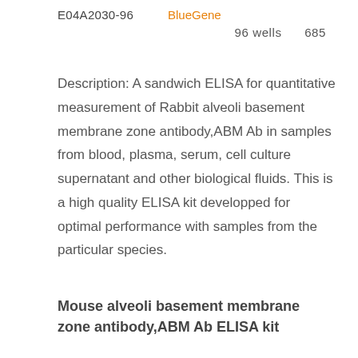E04A2030-96
BlueGene
96 wells   685
Description: A sandwich ELISA for quantitative measurement of Rabbit alveoli basement membrane zone antibody,ABM Ab in samples from blood, plasma, serum, cell culture supernatant and other biological fluids. This is a high quality ELISA kit developped for optimal performance with samples from the particular species.
Mouse alveoli basement membrane zone antibody,ABM Ab ELISA kit